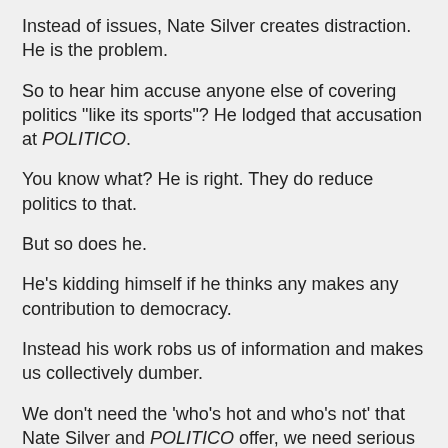Instead of issues, Nate Silver creates distraction.  He is the problem.
So to hear him accuse anyone else of covering politics "like its sports"?  He lodged that accusation at POLITICO.
You know what?  He is right.  They do reduce politics to that.
But so does he.
He's kidding himself if he thinks any makes any contribution to democracy.
Instead his work robs us of information and makes us collectively dumber.
We don't need the 'who's hot and who's not' that Nate Silver and POLITICO offer, we need serious discussions on issues.
Nate Silver's basically a subway flasher calling out a panhandler for bothering people.